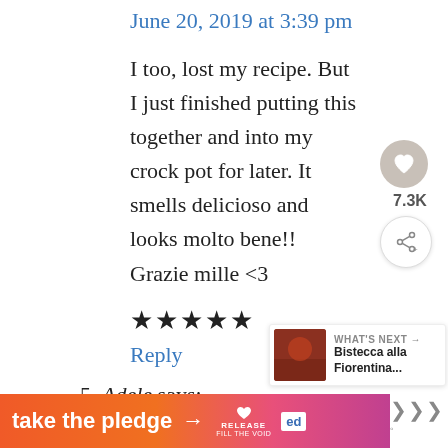June 20, 2019 at 3:39 pm
I too, lost my recipe. But I just finished putting this together and into my crock pot for later. It smells delicioso and looks molto bene!! Grazie mille <3
★★★★★
Reply
5. Adele says:
[Figure (other): Heart/like button with count 7.3K and share button]
[Figure (other): What's Next promo box: Bistecca alla Fiorentina...]
[Figure (other): Ad banner: take the pledge with RELEASE and ed logos]